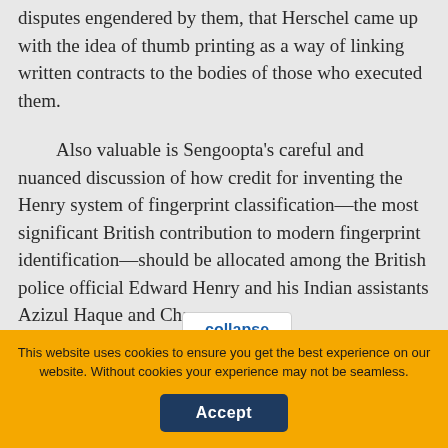disputes engendered by them, that Herschel came up with the idea of thumb printing as a way of linking written contracts to the bodies of those who executed them.
Also valuable is Sengoopta's careful and nuanced discussion of how credit for inventing the Henry system of fingerprint classification—the most significant British contribution to modern fingerprint identification—should be allocated among the British police official Edward Henry and his Indian assistants Azizul Haque and Cha[...]
collapse
You are not currently authenticated.
If you would like to authenticate using a different subscribed institution or
This website uses cookies to ensure you get the best experience on our website. Without cookies your experience may not be seamless.
Accept